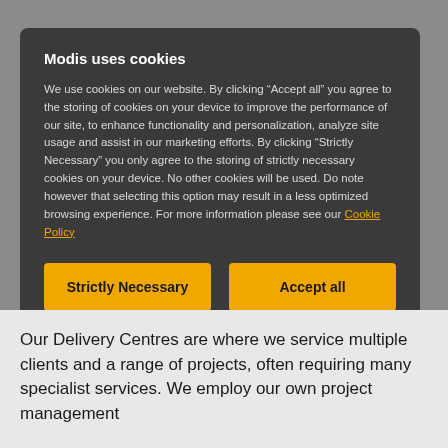Modis uses cookies
We use cookies on our website. By clicking “Accept all” you agree to the storing of cookies on your device to improve the performance of our site, to enhance functionality and personalization, analyze site usage and assist in our marketing efforts. By clicking “Strictly Necessary” you only agree to the storing of strictly necessary cookies on your device. No other cookies will be used. Do note however that selecting this option may result in a less optimized browsing experience. For more information please see our Cookie Policy
Strictly Necessary
Accept all
Cookie Settings
Our Delivery Centres are where we service multiple clients and a range of projects, often requiring many specialist services. We employ our own project management